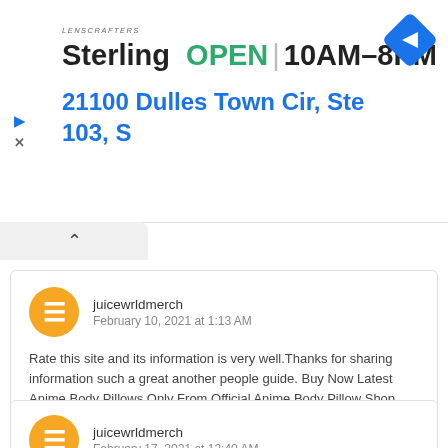[Figure (screenshot): LensCrafters advertisement banner showing Sterling location open 10AM-8PM at 21100 Dulles Town Cir, Ste 103, S with navigation icon]
juicewrldmerch
February 10, 2021 at 1:13 AM
Rate this site and its information is very well.Thanks for sharing information such a great another people guide. Buy Now Latest Anime Body Pillows Only From Official Anime Body Pillow Shop.
Body Pillow Anime
juicewrldmerch
February 17, 2021 at 12:40 AM